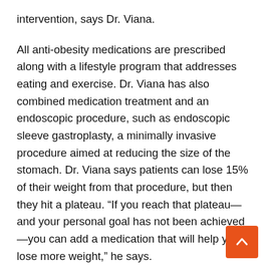intervention, says Dr. Viana.
All anti-obesity medications are prescribed along with a lifestyle program that addresses eating and exercise. Dr. Viana has also combined medication treatment and an endoscopic procedure, such as endoscopic sleeve gastroplasty, a minimally invasive procedure aimed at reducing the size of the stomach. Dr. Viana says patients can lose 15% of their weight from that procedure, but then they hit a plateau. “If you reach that plateau—and your personal goal has not been achieved—you can add a medication that will help you lose more weight,” he says.